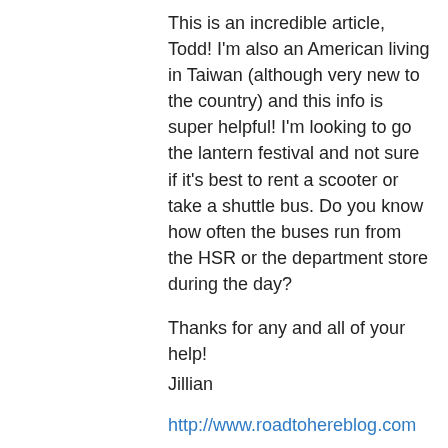This is an incredible article, Todd! I'm also an American living in Taiwan (although very new to the country) and this info is super helpful! I'm looking to go the lantern festival and not sure if it's best to rent a scooter or take a shuttle bus. Do you know how often the buses run from the HSR or the department store during the day?

Thanks for any and all of your help!
Jillian
http://www.roadtohereblog.com
↳ Reply
Todd Alperovitz on February 12, 2014 at 10:38 pm